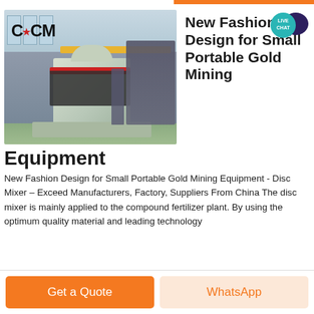[Figure (photo): Industrial factory floor showing a large CCM-branded mining/processing machine (disc mixer) in a manufacturing facility with green walls, overhead cranes, and multiple similar machines in the background.]
New Fashion Design for Small Portable Gold Mining Equipment
New Fashion Design for Small Portable Gold Mining Equipment - Disc Mixer – Exceed Manufacturers, Factory, Suppliers From China The disc mixer is mainly applied to the compound fertilizer plant. By using the optimum quality material and leading technology